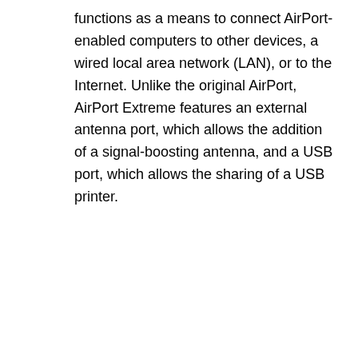functions as a means to connect AirPort-enabled computers to other devices, a wired local area network (LAN), or to the Internet. Unlike the original AirPort, AirPort Extreme features an external antenna port, which allows the addition of a signal-boosting antenna, and a USB port, which allows the sharing of a USB printer.